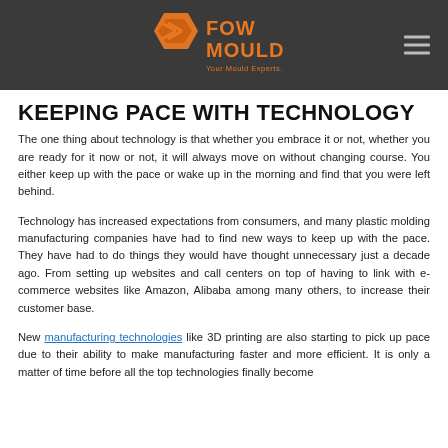[Figure (logo): FOW MOULD logo with orange hexagonal shape and orange text 'FOW MOULD Your Mould Experts' on dark grey background]
KEEPING PACE WITH TECHNOLOGY
The one thing about technology is that whether you embrace it or not, whether you are ready for it now or not, it will always move on without changing course. You either keep up with the pace or wake up in the morning and find that you were left behind.
Technology has increased expectations from consumers, and many plastic molding manufacturing companies have had to find new ways to keep up with the pace. They have had to do things they would have thought unnecessary just a decade ago. From setting up websites and call centers on top of having to link with e-commerce websites like Amazon, Alibaba among many others, to increase their customer base.
New manufacturing technologies like 3D printing are also starting to pick up pace due to their ability to make manufacturing faster and more efficient. It is only a matter of time before all the top technologies finally become mainstream.